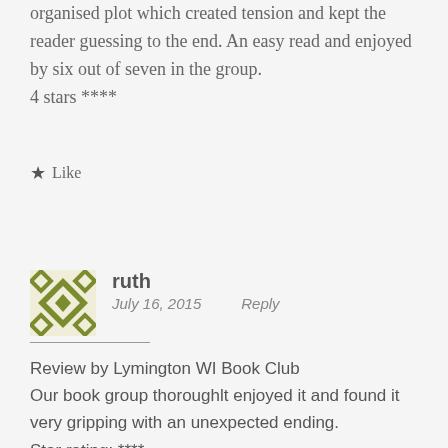organised plot which created tension and kept the reader guessing to the end. An easy read and enjoyed by six out of seven in the group.
4 stars ****
★ Like
ruth
July 16, 2015   Reply
Review by Lymington WI Book Club
Our book group thoroughlt enjoyed it and found it very gripping with an unexpected ending.
Star rating: ****